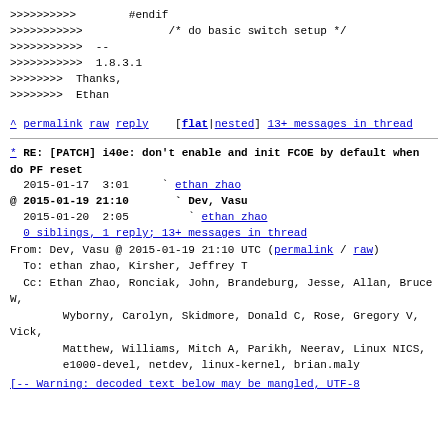>>>>>>>>>> #endif
>>>>>>>>>> /* do basic switch setup */
>>>>>>>>>> --
>>>>>>>>>> 1.8.3.1
>>>>>>>> Thanks,
>>>>>>>> Ethan
^ permalink raw reply [flat|nested] 13+ messages in thread
* RE: [PATCH] i40e: don't enable and init FCOE by default when do PF reset
  2015-01-17  3:01   ` ethan zhao
@ 2015-01-19 21:10     ` Dev, Vasu
  2015-01-20  2:05       ` ethan zhao
  0 siblings, 1 reply; 13+ messages in thread
From: Dev, Vasu @ 2015-01-19 21:10 UTC (permalink / raw)
  To: ethan zhao, Kirsher, Jeffrey T
  Cc: Ethan Zhao, Ronciak, John, Brandeburg, Jesse, Allan, Bruce W,
        Wyborny, Carolyn, Skidmore, Donald C, Rose, Gregory V, Vick,
        Matthew, Williams, Mitch A, Parikh, Neerav, Linux NICS,
        e1000-devel, netdev, linux-kernel, brian.maly
[-- Warning: decoded text below may be mangled, UTF-8